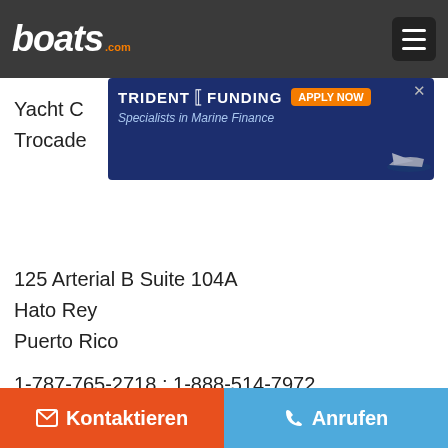boats.com
[Figure (screenshot): Trident Funding advertisement banner - Specialists in Marine Finance with APPLY NOW button and boat image]
Yacht C
Trocade
125 Arterial B Suite 104A
Hato Rey
Puerto Rico
1-787-765-2718 ; 1-888-514-7972
Alle Angebote dieses Anbieters
Jetzt anrufen
Kontaktieren
Anrufen